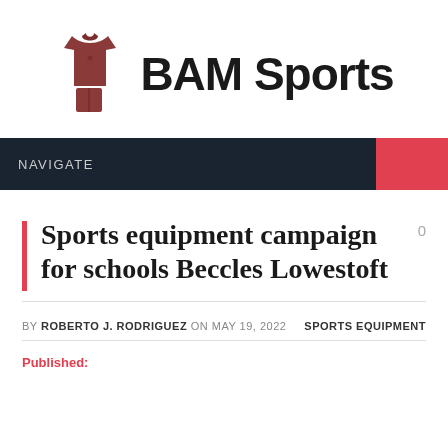[Figure (logo): BAM Sports logo with brown sports jersey/shorts icon and black bold text 'BAM Sports']
NAVIGATE
Sports equipment campaign for schools Beccles Lowestoft
BY ROBERTO J. RODRIGUEZ ON MAY 19, 2022   SPORTS EQUIPMENT
Published: